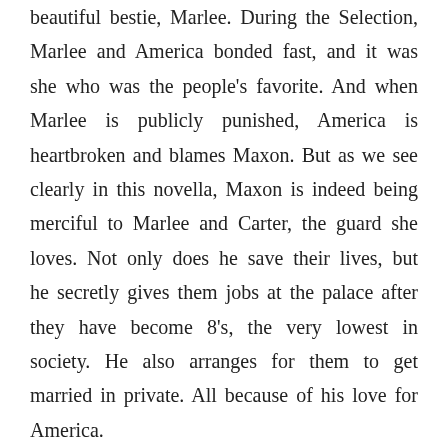And finally, The Favorite, is about America's beautiful bestie, Marlee. During the Selection, Marlee and America bonded fast, and it was she who was the people's favorite. And when Marlee is publicly punished, America is heartbroken and blames Maxon. But as we see clearly in this novella, Maxon is indeed being merciful to Marlee and Carter, the guard she loves. Not only does he save their lives, but he secretly gives them jobs at the palace after they have become 8's, the very lowest in society. He also arranges for them to get married in private. All because of his love for America.
This book is a fun compilation of stories that gives us more depth and color to characters we